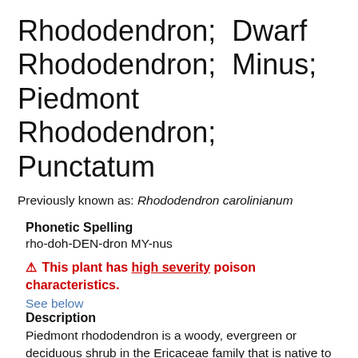Rhododendron; Dwarf Rhododendron; Minus; Piedmont Rhododendron; Punctatum
Previously known as: Rhododendron carolinianum
Phonetic Spelling
rho-doh-DEN-dron MY-nus
⚠ This plant has high severity poison characteristics.
See below
Description
Piedmont rhododendron is a woody, evergreen or deciduous shrub in the Ericaceae family that is native to North Carolina, South Carolina, and the Tennessee mountains. One of the smaller species, this plant grows 3 to 6 feet tall and wide. The genus name derives from